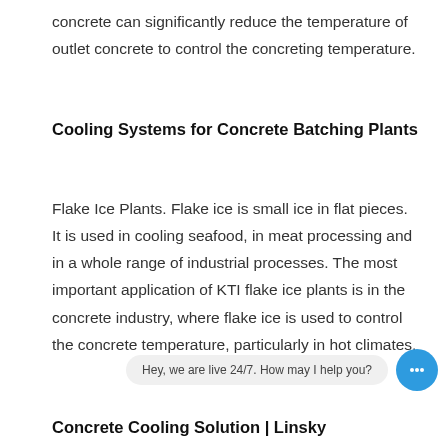concrete can significantly reduce the temperature of outlet concrete to control the concreting temperature.
Cooling Systems for Concrete Batching Plants
Flake Ice Plants. Flake ice is small ice in flat pieces. It is used in cooling seafood, in meat processing and in a whole range of industrial processes. The most important application of KTI flake ice plants is in the concrete industry, where flake ice is used to control the concrete temperature, particularly in hot climates.
Hey, we are live 24/7. How may I help you?
Concrete Cooling Solution | Linsky